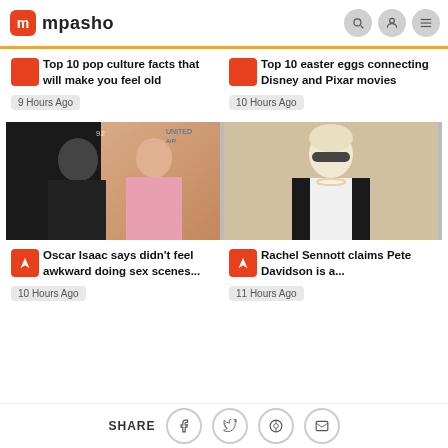mpasho
Top 10 pop culture facts that will make you feel old
9 Hours Ago
Top 10 easter eggs connecting Disney and Pixar movies
10 Hours Ago
[Figure (photo): Oscar Isaac and Jessica Chastain posed together, man in black turtleneck with beard, woman in pink blazer, 92Y and United Airlines logos visible in background]
[Figure (photo): Person with bleached hair and sunglasses wearing white blazer with black shirt and pearl necklace, light beige background]
Oscar Isaac says didn't feel awkward doing sex scenes...
10 Hours Ago
Rachel Sennott claims Pete Davidson is a...
11 Hours Ago
SHARE